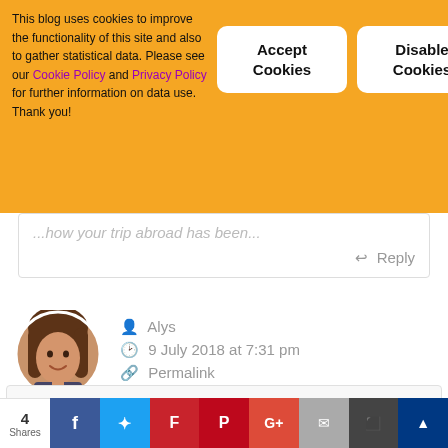This blog uses cookies to improve the functionality of this site and also to gather statistical data. Please see our Cookie Policy and Privacy Policy for further information on data use. Thank you!
[Figure (other): Accept Cookies button (white rounded rectangle with bold text)]
[Figure (other): Disable Cookies button (white rounded rectangle with bold text)]
...how your trip abroad has been...
Reply
[Figure (photo): Circular avatar photo of a young woman with long wavy hair, smiling]
Alys
9 July 2018 at 7:31 pm
Permalink
Woah this looks incredibly luxurious! I love the Scandi design, it's all so sleek! Your photos and
4 Shares